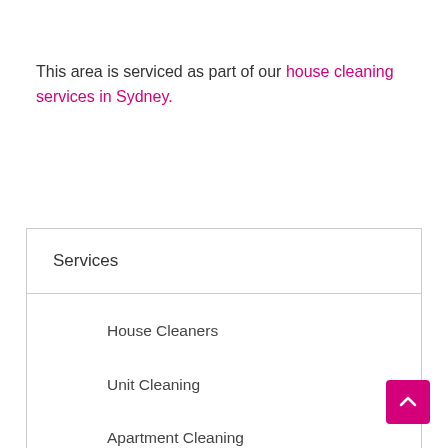This area is serviced as part of our house cleaning services in Sydney.
| Services |
| --- |
| House Cleaners |
| Unit Cleaning |
| Apartment Cleaning |
| Office Cleaning |